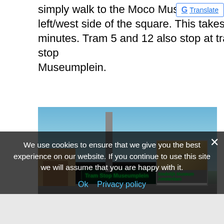simply walk to the Moco Museum at the left/west side of the square. This takes 3 minutes. Tram 5 and 12 also stop at tram stop Museumplein.
[Figure (photo): Photograph of a tram stop sign board displaying 'Tram Stop Museumplein' in green text on a dark screen, mounted on a pole against a blue sky. In the background is the Stedelijk Museum Amsterdam billboard and some buildings on the left.]
We use cookies to ensure that we give you the best experience on our website. If you continue to use this site we will assume that you are happy with it.
Ok  Privacy policy